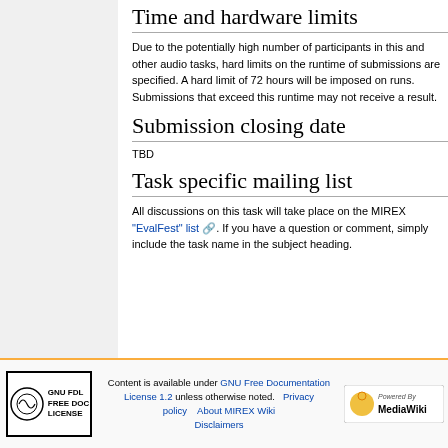Time and hardware limits
Due to the potentially high number of participants in this and other audio tasks, hard limits on the runtime of submissions are specified. A hard limit of 72 hours will be imposed on runs. Submissions that exceed this runtime may not receive a result.
Submission closing date
TBD
Task specific mailing list
All discussions on this task will take place on the MIREX "EvalFest" list. If you have a question or comment, simply include the task name in the subject heading.
Content is available under GNU Free Documentation License 1.2 unless otherwise noted. Privacy policy  About MIREX Wiki  Disclaimers